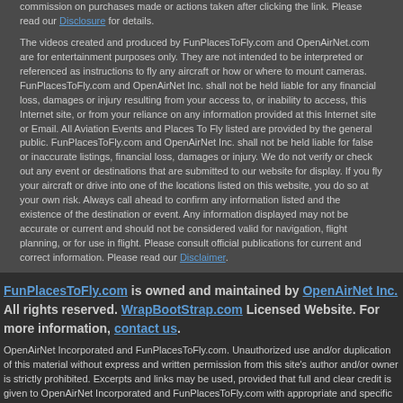commission on purchases made or actions taken after clicking the link. Please read our Disclosure for details.
The videos created and produced by FunPlacesToFly.com and OpenAirNet.com are for entertainment purposes only. They are not intended to be interpreted or referenced as instructions to fly any aircraft or how or where to mount cameras. FunPlacesToFly.com and OpenAirNet Inc. shall not be held liable for any financial loss, damages or injury resulting from your access to, or inability to access, this Internet site, or from your reliance on any information provided at this Internet site or Email. All Aviation Events and Places To Fly listed are provided by the general public. FunPlacesToFly.com and OpenAirNet Inc. shall not be held liable for false or inaccurate listings, financial loss, damages or injury. We do not verify or check out any event or destinations that are submitted to our website for display. If you fly your aircraft or drive into one of the locations listed on this website, you do so at your own risk. Always call ahead to confirm any information listed and the existence of the destination or event. Any information displayed may not be accurate or current and should not be considered valid for navigation, flight planning, or for use in flight. Please consult official publications for current and correct information. Please read our Disclaimer.
FunPlacesToFly.com is owned and maintained by OpenAirNet Inc. All rights reserved. WrapBootStrap.com Licensed Website. For more information, contact us.
OpenAirNet Incorporated and FunPlacesToFly.com. Unauthorized use and/or duplication of this material without express and written permission from this site's author and/or owner is strictly prohibited. Excerpts and links may be used, provided that full and clear credit is given to OpenAirNet Incorporated and FunPlacesToFly.com with appropriate and specific direction to the original content.
Social icons: Twitter, Facebook, YouTube, Pinterest. Back to top button.